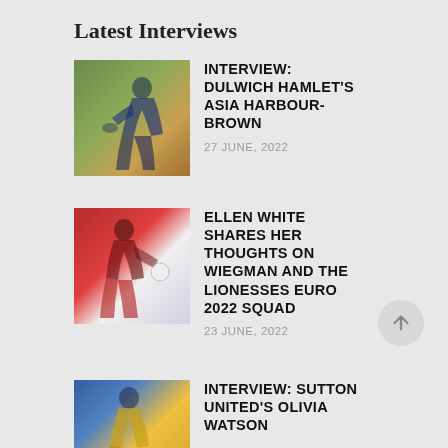Latest Interviews
[Figure (photo): Female footballer in blue kit dribbling ball on grass pitch]
INTERVIEW: DULWICH HAMLET'S ASIA HARBOUR-BROWN
27 JUNE, 2022
[Figure (photo): Female footballer in red and black kit kicking ball during match]
ELLEN WHITE SHARES HER THOUGHTS ON WIEGMAN AND THE LIONESSES EURO 2022 SQUAD
23 JUNE, 2022
[Figure (photo): Female footballer in yellow kit during match]
INTERVIEW: SUTTON UNITED'S OLIVIA WATSON